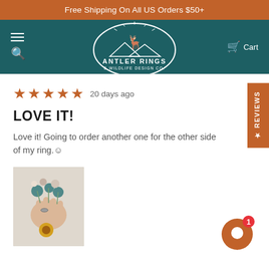Free Shipping On All US Orders $50+
[Figure (logo): Antler Rings & Wildlife Design Co. logo in white oval on teal background with navigation icons]
20 days ago
LOVE IT!
Love it! Going to order another one for the other side of my ring.☺
[Figure (photo): Hand holding a bouquet of flowers wearing a ring, dressed in white fur coat]